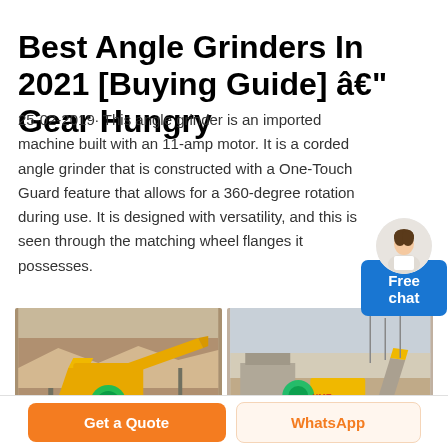Best Angle Grinders In 2021 [Buying Guide] â€" Gear Hungry
25-02-2019· This angle grinder is an imported machine built with an 11-amp motor. It is a corded angle grinder that is constructed with a One-Touch Guard feature that allows for a 360-degree rotation during use. It is designed with versatility, and this is seen through the matching wheel flanges it possesses.
[Figure (photo): Mining/crushing equipment with yellow conveyor belts and XME Mining Equipment watermark logo, two side-by-side photos of industrial mining machinery outdoors]
Get a Quote   WhatsApp